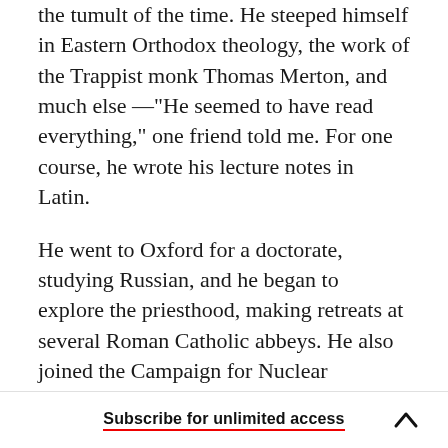the tumult of the time. He steeped himself in Eastern Orthodox theology, the work of the Trappist monk Thomas Merton, and much else —"He seemed to have read everything," one friend told me. For one course, he wrote his lecture notes in Latin.

He went to Oxford for a doctorate, studying Russian, and he began to explore the priesthood, making retreats at several Roman Catholic abbeys. He also joined the Campaign for Nuclear Disarmament, and united the two impulses by forming the first of several movements in which he
Subscribe for unlimited access